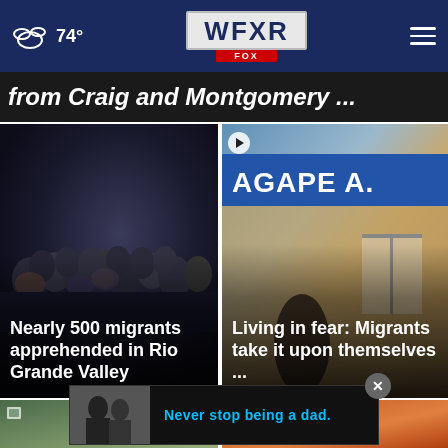74° WFXR FOX
from Craig and Montgomery ...
[Figure (photo): Night-time crowd of migrants apprehended in Rio Grande Valley]
Nearly 500 migrants apprehended in Rio Grande Valley
[Figure (photo): Building with AGAPE sign, migrants taking shelter]
Living in fear: Migrants take it upon themselves ...
[Figure (photo): Bottom left news thumbnail]
[Figure (photo): Bottom right news thumbnail]
Never stop being a dad.